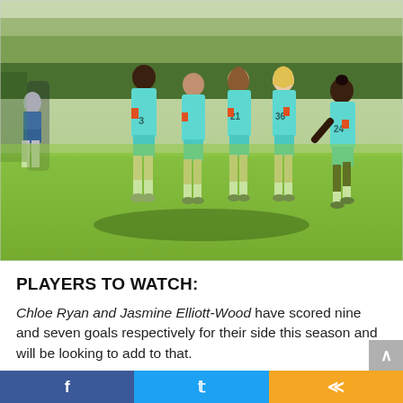[Figure (photo): Women's football players in teal/mint green kit celebrating on a grass pitch. Five players grouped together, some hugging. Players wearing numbers 21, 36, 24. Sunny outdoor setting.]
PLAYERS TO WATCH:
Chloe Ryan and Jasmine Elliott-Wood have scored nine and seven goals respectively for their side this season and will be looking to add to that.
However, centre-halves Kayley Hird and Sharone